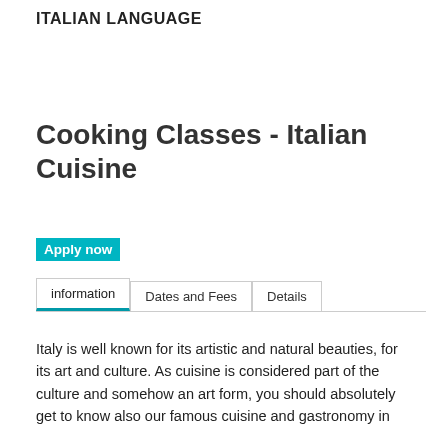ITALIAN LANGUAGE
Cooking Classes - Italian Cuisine
Apply now
information	Dates and Fees	Details
Italy is well known for its artistic and natural beauties, for its art and culture. As cuisine is considered part of the culture and somehow an art form, you should absolutely get to know also our famous cuisine and gastronomy in